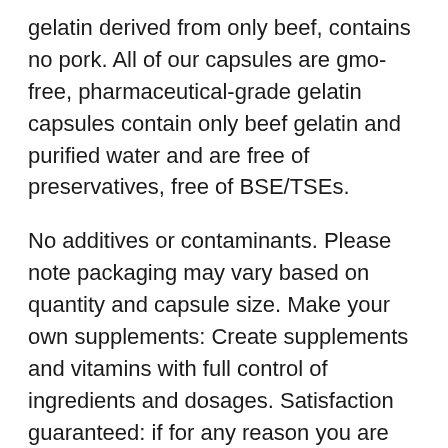gelatin derived from only beef, contains no pork. All of our capsules are gmo-free, pharmaceutical-grade gelatin capsules contain only beef gelatin and purified water and are free of preservatives, free of BSE/TSEs.
No additives or contaminants. Please note packaging may vary based on quantity and capsule size. Make your own supplements: Create supplements and vitamins with full control of ingredients and dosages. Satisfaction guaranteed: if for any reason you are not 100% satisfied with your purchase please contact us directly and we will do our best to make it right.
Clear Size 000 Empty Gelatin Capsules by Capsuline - 1000 Count |Kosher & Halal Certified |Gluten Free
#ad. With these clear gel capsules you can highlight